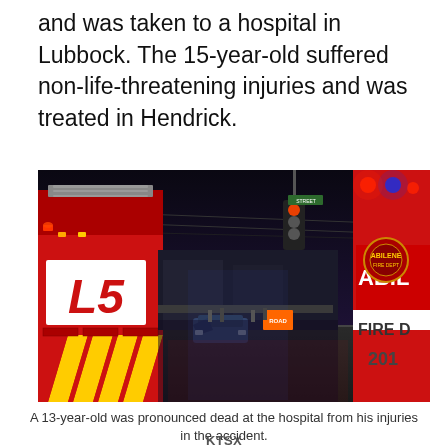and was taken to a hospital in Lubbock. The 15-year-old suffered non-life-threatening injuries and was treated in Hendrick.
[Figure (photo): Nighttime accident scene photo showing fire trucks with red and yellow chevron markings (Ladder 5) on the left, and an Abilene Fire Department truck on the right, with a damaged vehicle visible in the background at an intersection.]
A 13-year-old was pronounced dead at the hospital from his injuries in the accident.
KTSX